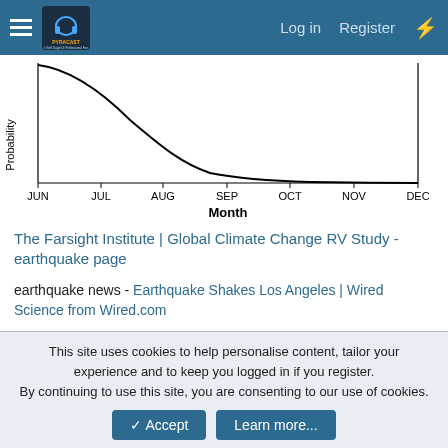The Pyracast | Log in | Register
[Figure (continuous-plot): A probability vs. month chart showing a decaying curve from near the top at JUN, dropping steeply through AUG-SEP, then flattening out near zero by NOV-DEC. X-axis labels: JUN, JUL, AUG, SEP, OCT, NOV, DEC. Y-axis label: Probability. X-axis title: Month.]
The Farsight Institute | Global Climate Change RV Study - earthquake page
earthquake news - Earthquake Shakes Los Angeles | Wired Science from Wired.com
This site uses cookies to help personalise content, tailor your experience and to keep you logged in if you register.
By continuing to use this site, you are consenting to our use of cookies.